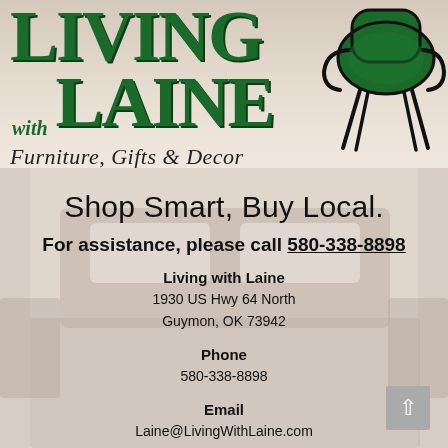[Figure (logo): Living with Laine Furniture, Gifts & Decor logo with green serif lettering and black chair silhouette illustration]
Shop Smart, Buy Local.
For assistance, please call 580-338-8898
Living with Laine
1930 US Hwy 64 North
Guymon, OK 73942
Phone
580-338-8898
Email
Laine@LivingWithLaine.com
Today's Hours: